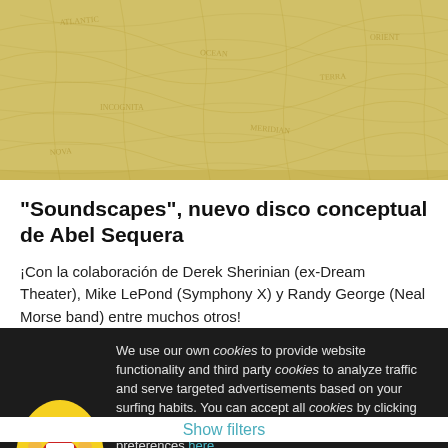[Figure (map): Antique/vintage map background with yellow-gold tone, showing geographic lines and labels in a faded old map style]
"Soundscapes", nuevo disco conceptual de Abel Sequera
¡Con la colaboración de Derek Sherinian (ex-Dream Theater), Mike LePond (Symphony X) y Randy George (Neal Morse band) entre muchos otros!
Metal
We use our own cookies to provide website functionality and third party cookies to analyze traffic and serve targeted advertisements based on your surfing habits. You can accept all cookies by clicking "Accept" or obtain more information and set your preferences here.
Accept
Show filters